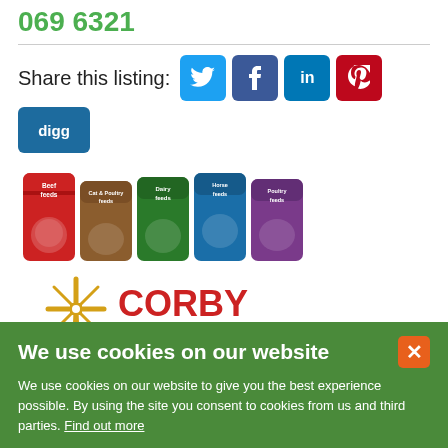069 6321
Share this listing:
[Figure (logo): Corby Rock Mill Ltd animal feed product bags and company logo with windmill]
We use cookies on our website
We use cookies on our website to give you the best experience possible. By using the site you consent to cookies from us and third parties. Find out more